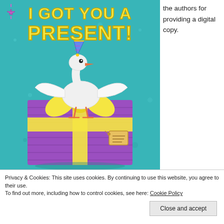[Figure (illustration): Book cover illustration: teal/turquoise background with large yellow bold text 'I GOT YOU A PRESENT!' at top. A white stork/goose bird wearing a party hat stands on top of a large purple gift box tied with a yellow ribbon and bow, with a gift tag hanging. The bird has wings spread open.]
the authors for providing a digital copy.
Privacy & Cookies: This site uses cookies. By continuing to use this website, you agree to their use.
To find out more, including how to control cookies, see here: Cookie Policy
Close and accept